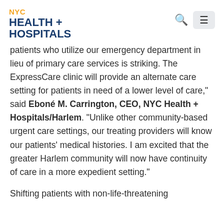NYC HEALTH + HOSPITALS
patients who utilize our emergency department in lieu of primary care services is striking. The ExpressCare clinic will provide an alternate care setting for patients in need of a lower level of care," said Eboné M. Carrington, CEO, NYC Health + Hospitals/Harlem. "Unlike other community-based urgent care settings, our treating providers will know our patients' medical histories. I am excited that the greater Harlem community will now have continuity of care in a more expedient setting."
Shifting patients with non-life-threatening